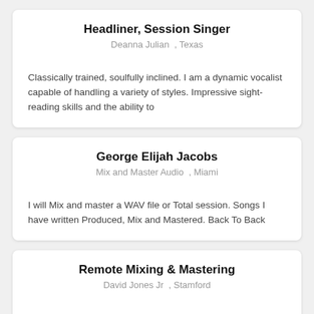Headliner, Session Singer
Deanna Julian , Texas
Classically trained, soulfully inclined. I am a dynamic vocalist capable of handling a variety of styles. Impressive sight-reading skills and the ability to
George Elijah Jacobs
Mix and Master Audio , Miami
I will Mix and master a WAV file or Total session. Songs I have written Produced, Mix and Mastered. Back To Back
Remote Mixing & Mastering
David Jones Jr , Stamford